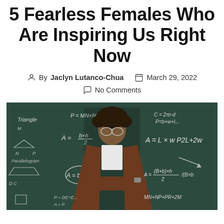5 Fearless Females Who Are Inspiring Us Right Now
By Jaclyn Lutanco-Chua   March 29, 2022   No Comments
[Figure (photo): A woman with curly hair and glasses, wearing a brown blazer, standing with arms crossed in front of a blackboard covered in mathematical formulas and geometry diagrams.]